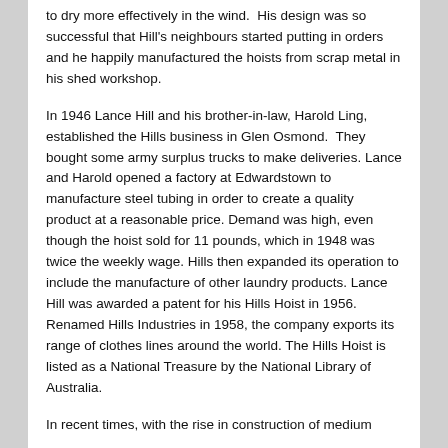to dry more effectively in the wind.  His design was so successful that Hill's neighbours started putting in orders and he happily manufactured the hoists from scrap metal in his shed workshop.
In 1946 Lance Hill and his brother-in-law, Harold Ling, established the Hills business in Glen Osmond.  They bought some army surplus trucks to make deliveries. Lance and Harold opened a factory at Edwardstown to manufacture steel tubing in order to create a quality product at a reasonable price. Demand was high, even though the hoist sold for 11 pounds, which in 1948 was twice the weekly wage. Hills then expanded its operation to include the manufacture of other laundry products. Lance Hill was awarded a patent for his Hills Hoist in 1956. Renamed Hills Industries in 1958, the company exports its range of clothes lines around the world. The Hills Hoist is listed as a National Treasure by the National Library of Australia.
In recent times, with the rise in construction of medium